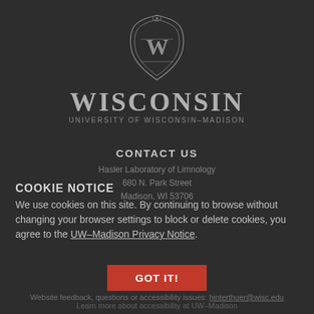[Figure (logo): University of Wisconsin-Madison crest/shield logo with W letter, ornate border, with WISCONSIN text and UNIVERSITY OF WISCONSIN-MADISON subtitle below]
CONTACT US
Hasler Laboratory of Limnology
680 N. Park Street
Madison, WI 53706
COOKIE NOTICE
We use cookies on this site. By continuing to browse without changing your browser settings to block or delete cookies, you agree to the UW–Madison Privacy Notice.
GOT IT!
Website feedback, questions or accessibility issues: hinterthuer@wisc.edu
Learn more about accessibility at UW–Madison